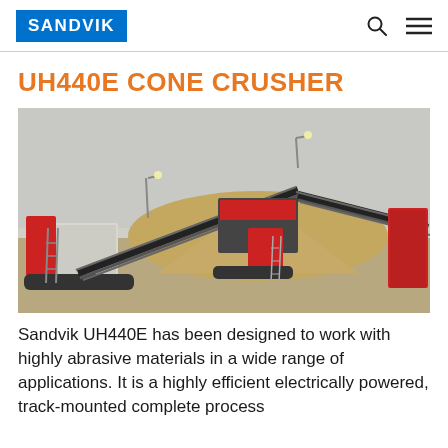SANDVIK
UH440E CONE CRUSHER
[Figure (photo): Sandvik UH440E cone crusher machine shown in outdoor industrial setting with conveyor belts, crawler tracks, and a large sand/gravel pile in the background]
Sandvik UH440E has been designed to work with highly abrasive materials in a wide range of applications. It is a highly efficient electrically powered, track-mounted complete process